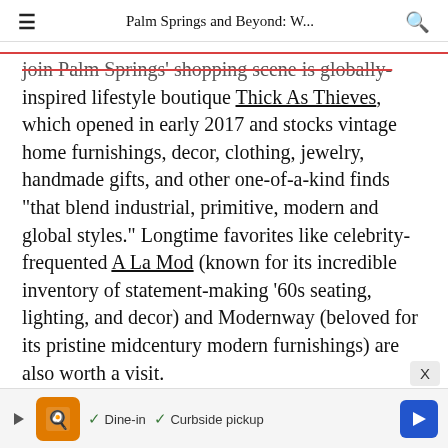Palm Springs and Beyond: W...
join Palm Springs' shopping scene is globally-inspired lifestyle boutique Thick As Thieves, which opened in early 2017 and stocks vintage home furnishings, decor, clothing, jewelry, handmade gifts, and other one-of-a-kind finds "that blend industrial, primitive, modern and global styles." Longtime favorites like celebrity-frequented A La Mod (known for its incredible inventory of statement-making '60s seating, lighting, and decor) and Modernway (beloved for its pristine midcentury modern furnishings) are also worth a visit.
[Figure (other): Advertisement bar at bottom with orange restaurant icon, checkmarks for Dine-in and Curbside pickup, and blue navigation arrow]